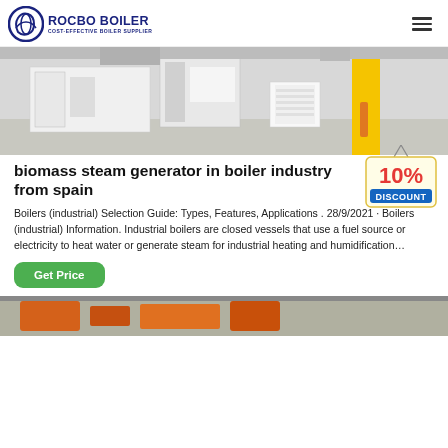ROCBO BOILER - COST-EFFECTIVE BOILER SUPPLIER
[Figure (photo): Industrial boiler facility interior showing large white industrial equipment and a yellow support column]
biomass steam generator in boiler industry from spain
[Figure (illustration): 10% DISCOUNT badge/tag hanging from a string]
Boilers (industrial) Selection Guide: Types, Features, Applications . 28/9/2021 · Boilers (industrial) Information. Industrial boilers are closed vessels that use a fuel source or electricity to heat water or generate steam for industrial heating and humidification…
[Figure (photo): Partial bottom image of industrial equipment, appears orange/yellow colored machinery]